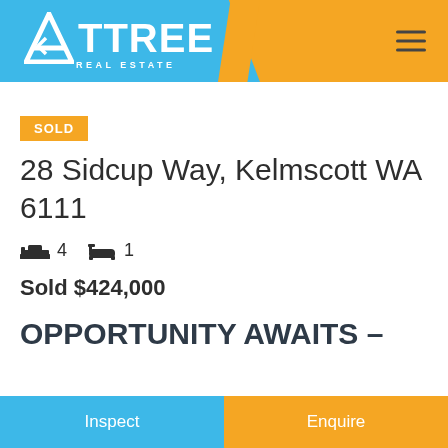[Figure (logo): Attree Real Estate logo with orange background and blue trapezoid shape]
SOLD
28 Sidcup Way, Kelmscott WA 6111
4 bedrooms, 1 bathroom
Sold $424,000
OPPORTUNITY AWAITS -
Inspect
Enquire